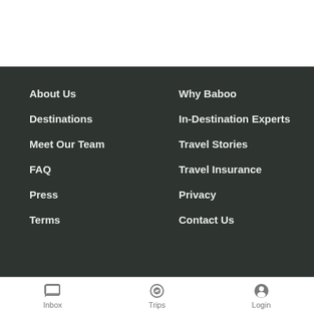About Us
Why Baboo
Destinations
In-Destination Experts
Meet Our Team
Travel Stories
FAQ
Travel Insurance
Press
Privacy
Terms
Contact Us
Inbox  Trips  Login